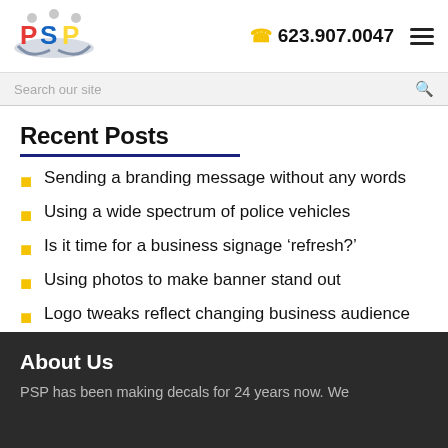[Figure (logo): PSP logo with colorful bowling pin letters]
623.907.0047
Recent Posts
Sending a branding message without any words
Using a wide spectrum of police vehicles
Is it time for a business signage ‘refresh?’
Using photos to make banner stand out
Logo tweaks reflect changing business audience
About Us
PSP has been making decals for 24 years now. We